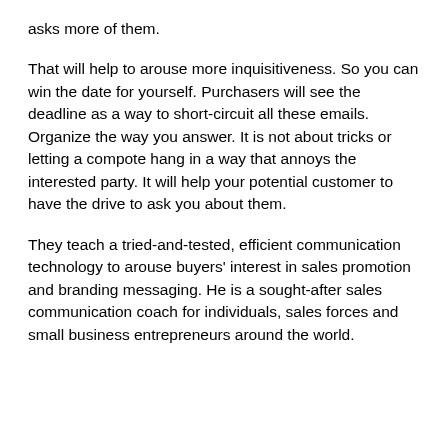asks more of them.
That will help to arouse more inquisitiveness. So you can win the date for yourself. Purchasers will see the deadline as a way to short-circuit all these emails. Organize the way you answer. It is not about tricks or letting a compote hang in a way that annoys the interested party. It will help your potential customer to have the drive to ask you about them.
They teach a tried-and-tested, efficient communication technology to arouse buyers' interest in sales promotion and branding messaging. He is a sought-after sales communication coach for individuals, sales forces and small business entrepreneurs around the world.